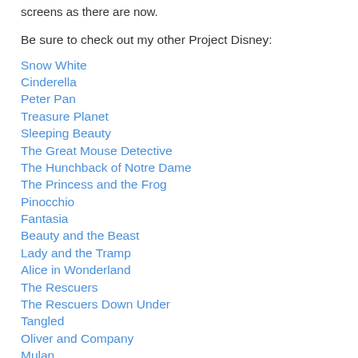screens as there are now.
Be sure to check out my other Project Disney:
Snow White
Cinderella
Peter Pan
Treasure Planet
Sleeping Beauty
The Great Mouse Detective
The Hunchback of Notre Dame
The Princess and the Frog
Pinocchio
Fantasia
Beauty and the Beast
Lady and the Tramp
Alice in Wonderland
The Rescuers
The Rescuers Down Under
Tangled
Oliver and Company
Mulan